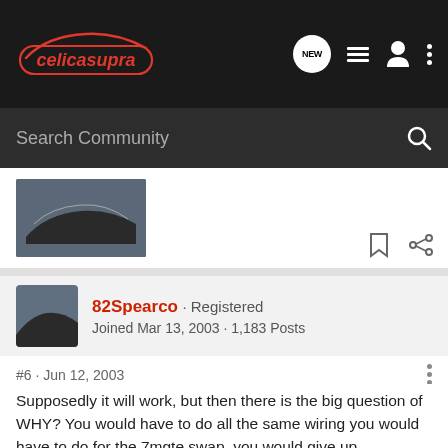celicasupra | Search Community
[Figure (screenshot): Previous forum post with a car image thumbnail]
82Spearco · Registered
Joined Mar 13, 2003 · 1,183 Posts
#6 · Jun 12, 2003
Supposedly it will work, but then there is the big question of WHY? You would have to do all the same wiring you would have to do for the 7mgte swap, you would give up displacement, you would give up the oil squirters, etc 🙁. Probably why we haven't heard of anyone doing this.